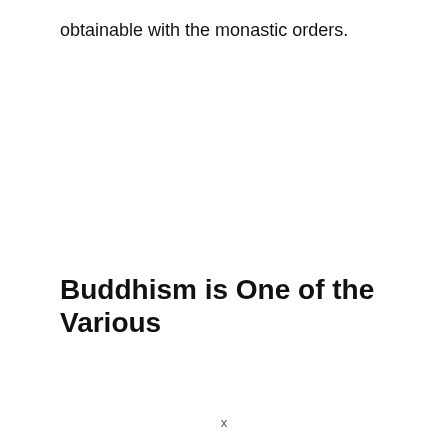obtainable with the monastic orders.
Buddhism is One of the Various
x